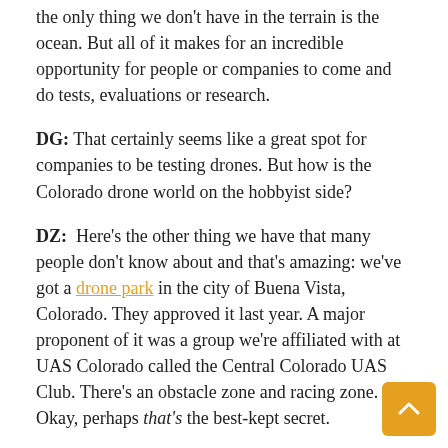the only thing we don't have in the terrain is the ocean. But all of it makes for an incredible opportunity for people or companies to come and do tests, evaluations or research.
DG: That certainly seems like a great spot for companies to be testing drones. But how is the Colorado drone world on the hobbyist side?
DZ: Here's the other thing we have that many people don't know about and that's amazing: we've got a drone park in the city of Buena Vista, Colorado. They approved it last year. A major proponent of it was a group we're affiliated with at UAS Colorado called the Central Colorado UAS Club. There's an obstacle zone and racing zone. Okay, perhaps that's the best-kept secret.
DG: It really is! And it's so important for business growth to have these kinds of flying spots. In fact, I recently wrote a piece about how hobbyists are crucial to tech innovation based on some super interesting data I received from the people over at Drone Analyst. 46.5% of business-focused drone programs were founded by someone who initially had interest in drones as a hobbyist. So, it totally makes sense to support hobbyists!